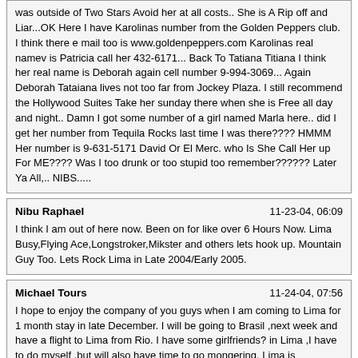was outside of Two Stars Avoid her at all costs.. She is A Rip off and Liar...OK Here I have Karolinas number from the Golden Peppers club. I think there e mail too is www.goldenpeppers.com Karolinas real namev is Patricia call her 432-6171... Back To Tatiana Titiana I think her real name is Deborah again cell number 9-994-3069... Again Deborah Tataiana lives not too far from Jockey Plaza. I still recommend the Hollywood Suites Take her sunday there when she is Free all day and night.. Damn I got some number of a girl named Marla here.. did I get her number from Tequila Rocks last time I was there???? HMMM Her number is 9-631-5171 David Or El Merc. who Is She Call Her up For ME???? Was I too drunk or too stupid too remember?????? Later Ya All,.. NIBS.....
Nibu Raphael | 11-23-04, 06:09
I think I am out of here now. Been on for like over 6 Hours Now. Lima Busy,Flying Ace,Longstroker,Mikster and others lets hook up. Mountain Guy Too. Lets Rock Lima in Late 2004/Early 2005.
Michael Tours | 11-24-04, 07:56
I hope to enjoy the company of you guys when I am coming to Lima for 1 month stay in late December. I will be going to Brasil ,next week and have a flight to Lima from Rio. I have some girlfriends? in Lima ,I have to do myself ,but will also have time to go mongering. Lima is great,have been there for months thru the last 4 year. Ok hope we can hook up and have fun. I will make photos to post,be sure. Hasta luego Michael Tours
Nibu Raphael | 11-25-04, 22:35
Hey Dude you never responded to my Last Few PMS. Are We Hooking up or what? I should be in Arequipa like the 18th of Decmber. Do You want to hook up there then We Can go to Ica for Hot Dark girls and then Check out the Sex scene in Chincha where there are a lot of Black Girls. P.M. Right Way or Post Back. Also Lima Busy,Flying Ace and Mikster Get a hold of Me too. You Guys